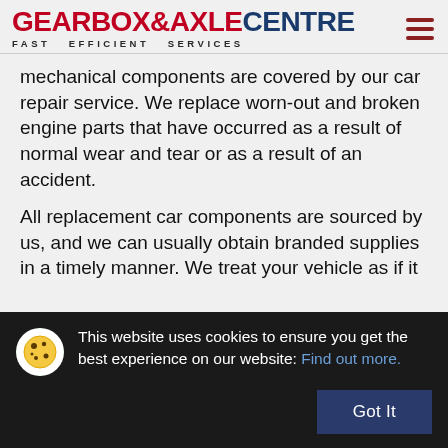GEARBOX&AXLE CENTRE — FAST EFFICIENT SERVICES
mechanical components are covered by our car repair service. We replace worn-out and broken engine parts that have occurred as a result of normal wear and tear or as a result of an accident.
All replacement car components are sourced by us, and we can usually obtain branded supplies in a timely manner. We treat your vehicle as if it
This website uses cookies to ensure you get the best experience on our website: Find out more.
Got It